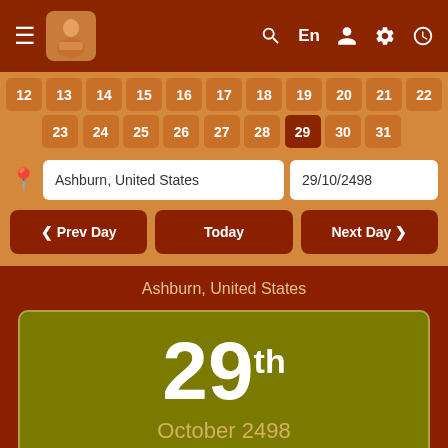[Figure (screenshot): Navigation bar with hamburger menu, logo icon, search, language (En), user, settings, and clock icons on dark red background]
[Figure (screenshot): Calendar grid rows showing dates 12-22 and 23-31 on orange-brown background]
Ashburn, United States
29/10/2498
‹ Prev Day
Today
Next Day ›
Ashburn, United States
29th
October 2498
Wednesday / बुधवार